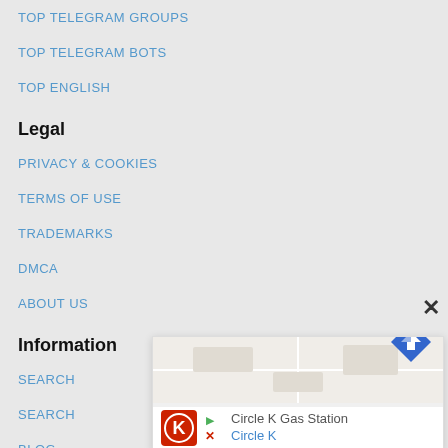TOP TELEGRAM GROUPS
TOP TELEGRAM BOTS
TOP ENGLISH
Legal
PRIVACY & COOKIES
TERMS OF USE
TRADEMARKS
DMCA
ABOUT US
Information
SEARCH
SEARCH
BLOG
DOWNLOAD TELEGRAM
[Figure (screenshot): Circle K Gas Station advertisement overlay with logo, map background, navigation arrow icon, and text 'Circle K Gas Station / Circle K']